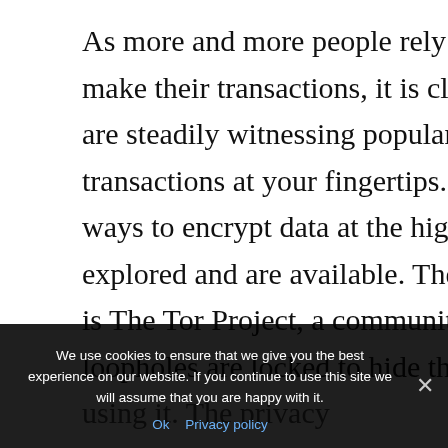As more and more people rely on the convenience to make their transactions, it is clear that mobile wallets are steadily witnessing popularity by facilitating transactions at your fingertips. However, many more ways to encrypt data at the highest level can be explored and are available. The developer of the browser is The Tor Project, a community that ensures all security loopholes are locked to hide the identity of the person using it. The privacy protection is not ... like other apps hi...
We use cookies to ensure that we give you the best experience on our website. If you continue to use this site we will assume that you are happy with it.